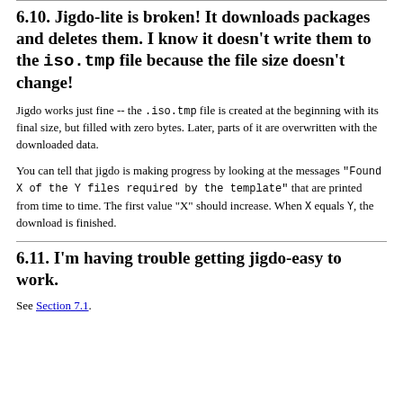6.10. Jigdo-lite is broken! It downloads packages and deletes them. I know it doesn't write them to the iso.tmp file because the file size doesn't change!
Jigdo works just fine -- the .iso.tmp file is created at the beginning with its final size, but filled with zero bytes. Later, parts of it are overwritten with the downloaded data.
You can tell that jigdo is making progress by looking at the messages "Found X of the Y files required by the template" that are printed from time to time. The first value "X" should increase. When X equals Y, the download is finished.
6.11. I'm having trouble getting jigdo-easy to work.
See Section 7.1.